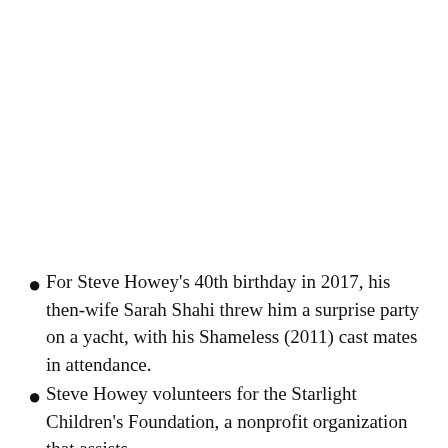For Steve Howey's 40th birthday in 2017, his then-wife Sarah Shahi threw him a surprise party on a yacht, with his Shameless (2011) cast mates in attendance.
Steve Howey volunteers for the Starlight Children's Foundation, a nonprofit organization that assists